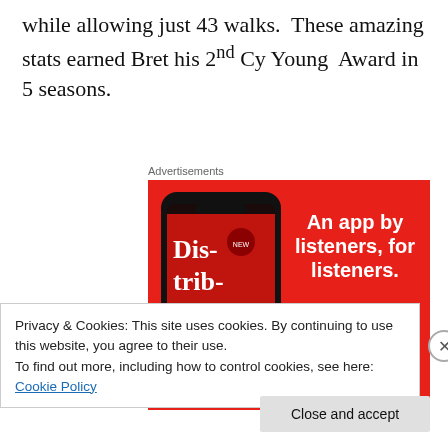while allowing just 43 walks.  These amazing stats earned Bret his 2nd Cy Young  Award in 5 seasons.
Advertisements
[Figure (screenshot): Advertisement banner with red background showing a smartphone displaying a podcast app called 'Dis-trib-uted', with white bold text reading 'An app by listeners, for listeners.' and a dark red 'Download now' button.]
Privacy & Cookies: This site uses cookies. By continuing to use this website, you agree to their use.
To find out more, including how to control cookies, see here: Cookie Policy
Close and accept